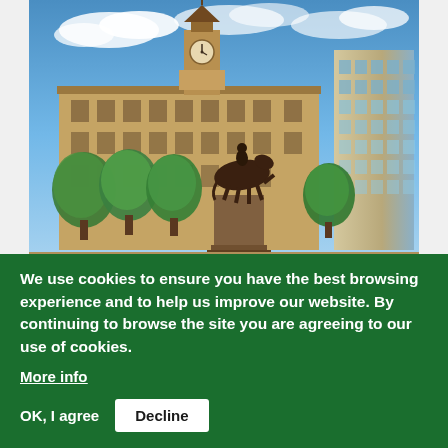[Figure (photo): Photograph of a UK city square (Leeds city centre) showing a Victorian-style municipal building with a clock tower, green trees, an equestrian statue in the foreground on a stone plinth, and a modern curved glass office building on the right, under a blue sky with white clouds.]
New £3.5m research network to support UK
We use cookies to ensure you have the best browsing experience and to help us improve our website. By continuing to browse the site you are agreeing to our use of cookies.
More info
OK, I agree
Decline